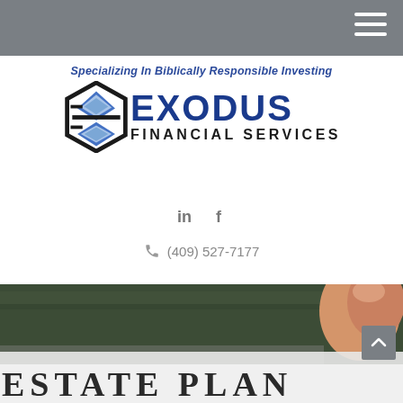[Figure (logo): Exodus Financial Services logo with hexagonal icon and text 'Specializing In Biblically Responsible Investing']
in  f
(409) 527-7177
[Figure (photo): Close-up photo of books with a finger, with 'ESTATE PLAN' text visible on cover]
ESTATE PLAN